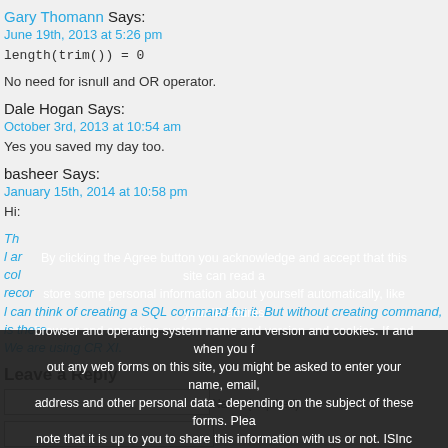Gary Thomann Says:
June 19th, 2013 at 5:26 pm
length(trim()) = 0
No need for isnull and OR operator.
Dale Hogan Says:
October 3rd, 2013 at 10:54 am
Yes you saved my day too.
basheer Says:
January 15th, 2014 at 10:58 pm
Hi:
We are using CR XI.
Leave a Reply
By clicking the Agree button you acknowledge and accept that this site can read and store some personal information about yourself automatically, like your IP address, browser and operating system name and version and cookies. If and when you fill out any web forms on this site, you might be asked to enter your name, email, address and other personal data - depending on the subject of these forms. Please note that it is up to you to share this information with us or not. ISInc does not sell or share any data collected.